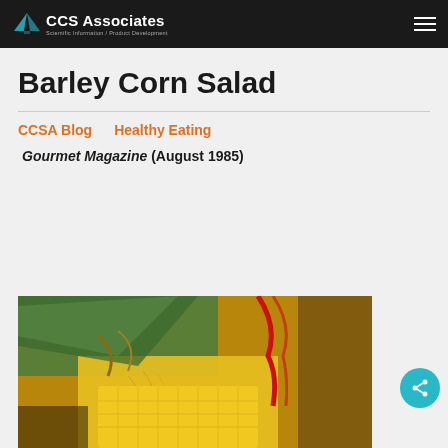CCS Associates
Barley Corn Salad
CCSA Blog    Healthy Eating
Gourmet Magazine (August 1985)
[Figure (photo): Close-up photo of corn on the cob with husks and corn silk, bundled together]